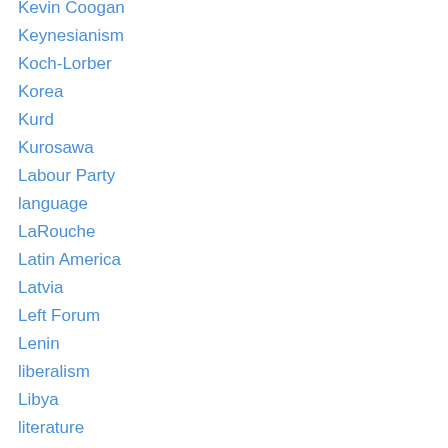Kevin Coogan
Keynesianism
Koch-Lorber
Korea
Kurd
Kurosawa
Labour Party
language
LaRouche
Latin America
Latvia
Left Forum
Lenin
liberalism
Libya
literature
mafia
magic
Malcolm X
Malinovsky